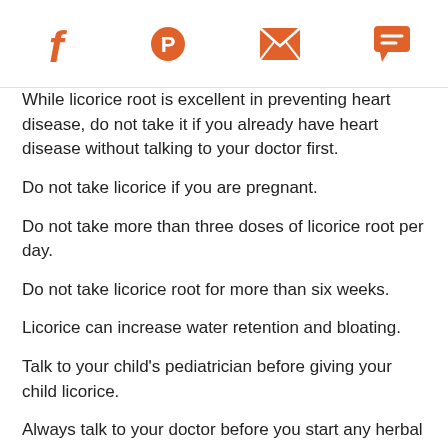[Social share icons: Facebook, Pinterest, Email, Chat]
While licorice root is excellent in preventing heart disease, do not take it if you already have heart disease without talking to your doctor first.
Do not take licorice if you are pregnant.
Do not take more than three doses of licorice root per day.
Do not take licorice root for more than six weeks.
Licorice can increase water retention and bloating.
Talk to your child's pediatrician before giving your child licorice.
Always talk to your doctor before you start any herbal remedy regimen since some herbs may interact with medicines and supplements you may already be taking.
Sources